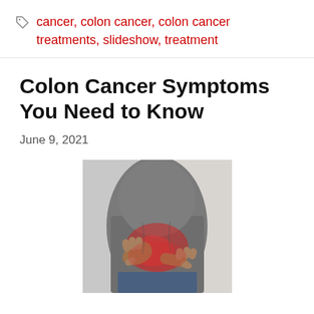cancer, colon cancer, colon cancer treatments, slideshow, treatment
Colon Cancer Symptoms You Need to Know
June 9, 2021
[Figure (photo): Person in grey t-shirt holding their abdomen/stomach area with both hands, with a red highlight indicating pain in the abdominal region, against a light grey background.]